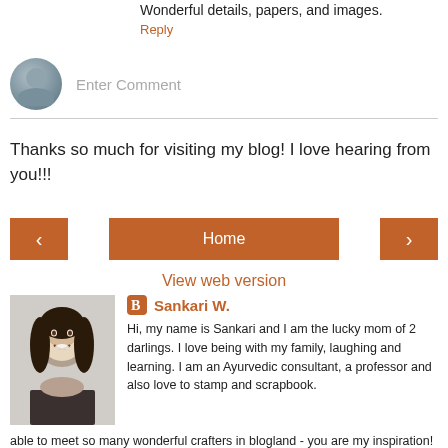Wonderful details, papers, and images.
Reply
[Figure (screenshot): Comment input box with avatar icon and 'Enter Comment' placeholder text]
Thanks so much for visiting my blog! I love hearing from you!!!
[Figure (screenshot): Navigation buttons: left arrow, Home, right arrow]
View web version
[Figure (photo): Black and white photo of Sankari W., a woman with long dark hair smiling]
Sankari W.
Hi, my name is Sankari and I am the lucky mom of 2 darlings. I love being with my family, laughing and learning. I am an Ayurvedic consultant, a professor and also love to stamp and scrapbook. I am so happy to be able to meet so many wonderful crafters in blogland - you are my inspiration! Drop a line and say hi :)